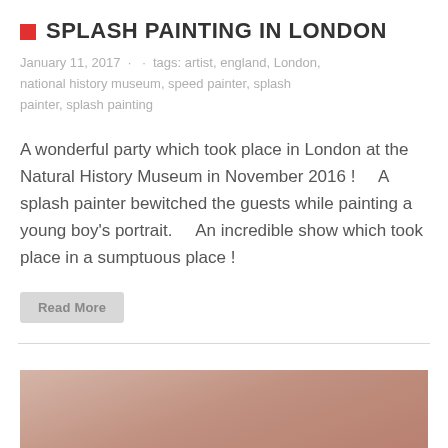SPLASH PAINTING IN LONDON
January 11, 2017 · · tags: artist, england, London, national history museum, speed painter, splash painter, splash painting
A wonderful party which took place in London at the Natural History Museum in November 2016 !    A splash painter bewitched the guests while painting a young boy's portrait.    An incredible show which took place in a sumptuous place !
Read More
[Figure (photo): Blurred close-up photo with warm pinkish-brown tones, partially visible at the bottom of the page]